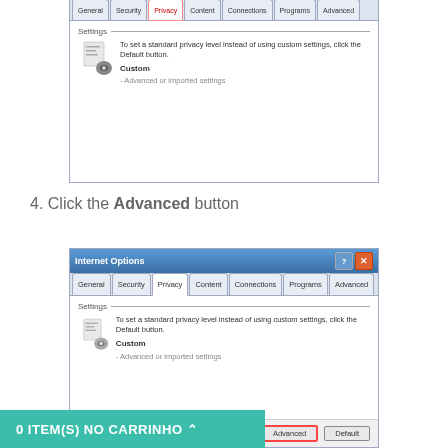[Figure (screenshot): Internet Options dialog showing Privacy tab selected with Settings section showing Custom / Advanced or imported settings. Partial top view.]
4. Click the Advanced button
[Figure (screenshot): Internet Options dialog showing Privacy tab with Settings section, Custom - Advanced or imported settings. Advanced and Default buttons visible at bottom with Advanced button highlighted in red.]
0 ITEM(S) NO CARRINHO